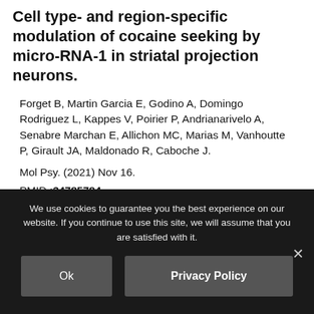Cell type- and region-specific modulation of cocaine seeking by micro-RNA-1 in striatal projection neurons.
Forget B, Martin Garcia E, Godino A, Domingo Rodriguez L, Kappes V, Poirier P, Andrianarivelo A, Senabre Marchan E, Allichon MC, Marias M, Vanhoutte P, Girault JA, Maldonado R, Caboche J.
Mol Psy. (2021) Nov 16.
PMID :34785784
Equipe :Girault
We use cookies to guarantee you the best experience on our website. If you continue to use this site, we will assume that you are satisfied with it.